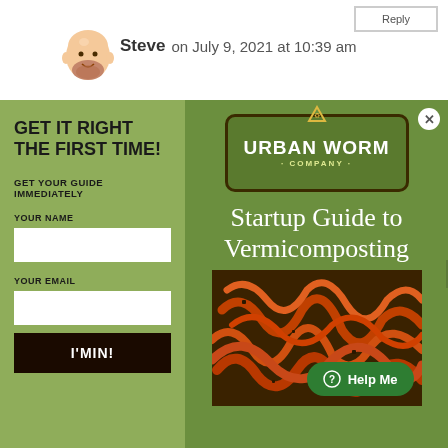[Figure (screenshot): Reply button at top right]
[Figure (illustration): Cartoon avatar of Steve - bald man with beard]
Steve on July 9, 2021 at 10:39 am
GET IT RIGHT THE FIRST TIME!
GET YOUR GUIDE IMMEDIATELY
YOUR NAME
YOUR EMAIL
I'MIN!
[Figure (logo): Urban Worm Company logo - green badge with brown border]
Startup Guide to Vermicomposting
[Figure (photo): Close-up photo of red worms/earthworms on soil]
? Help Me